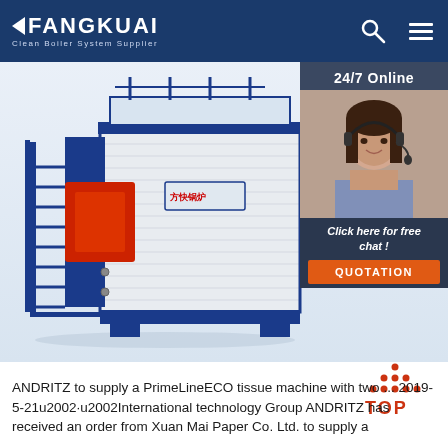FANGKUAI — Clean Boiler System Supplier
[Figure (photo): Industrial boiler unit (Fangkuai brand) — white rectangular boiler body with blue frame, red combustion chamber front, metal staircases, pipes on top; shown against white background. Overlaid 24/7 Online chat panel on the right with a customer service representative photo and 'Click here for free chat!' and QUOTATION button.]
[Figure (illustration): TOP icon — upward-pointing arrow/triangle made of orange-red dots above red 'TOP' text]
ANDRITZ to supply a PrimeLineECO tissue machine with two ... 2019-5-21u2002·u2002International technology Group ANDRITZ has received an order from Xuan Mai Paper Co. Ltd. to supply a